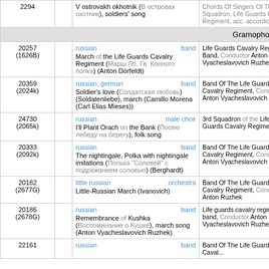| # |  | Title | Performer |
| --- | --- | --- | --- |
| 2294 |  | V ostrovakh okhotnik (В островах охотник), soldiers' song | Chords Of Singers Of The 3rd Squadron, Life Guards Cavalry Regiment, acc. accordion |
|  |  | Gramophone Co. |  |
| 20257 (1626B) |  | russian / band
March of the Life Guards Cavalry Regiment (Марш Лб. Гв. Конного полка) (Anton Dörfeldt) | Life Guards Cavalry Regiment Band, Conductor Anton Vyacheslavovich Ruzhek |
| 20359 (2024k) |  | russian, german / band
Soldier's love (Солдатская любовь) (Soldatenliebe), march (Camillo Morena (Carl Elias Mieses)) | Band Of The Life Guards Cavalry Regiment, Conductor Anton Vyacheslavovich Ruzhek |
| 24730 (2065k) |  | russian / male choir
I'll Plant Orach on the Bank (Посею лебеду на берегу), folk song | 3rd Squadron of the Life Guards Cavalry Regiment Choir |
| 20333 (2092k) |  | russian / band
The nightingale, Polka with nightingale imitations (Полька "Соловей" с подражанием соловью) (Berghardt) | Band Of The Life Guards Cavalry Regiment, Conductor Anton Vyacheslavovich Ruzhek |
| 20182 (2677G) |  | little russian / orchestra
Little-Russian March (Ivanovich) | Band Of The Life Guards Cavalry Regiment, Conductor Anton Ruzhek |
| 20186 (2678G) |  | russian / band
Remembrance of Kushka (Воспоминание о Кушке), march song (Anton Vyacheslavovich Ruzhek) | Life guards cavalry regiment band, Conductor Anton Vyacheslavovich Ruzhek |
| 22161 |  | russian / band | Band Of The Life Guards Caval... |